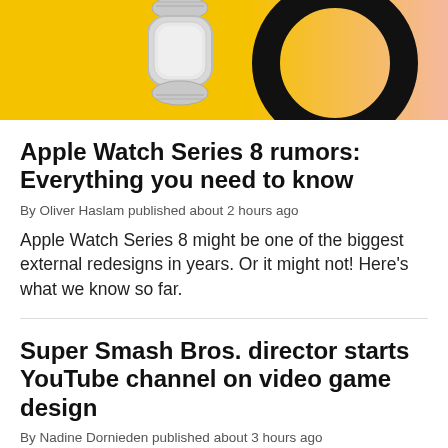[Figure (photo): Hero banner image with yellow and peach gradient background, showing an Apple Watch with metal band on the left and a partial large black circle/letter on the right]
Apple Watch Series 8 rumors: Everything you need to know
By Oliver Haslam published about 2 hours ago
Apple Watch Series 8 might be one of the biggest external redesigns in years. Or it might not! Here's what we know so far.
Super Smash Bros. director starts YouTube channel on video game design
By Nadine Dornieden published about 3 hours ago
The creative mind behind Kirby and Super Smash